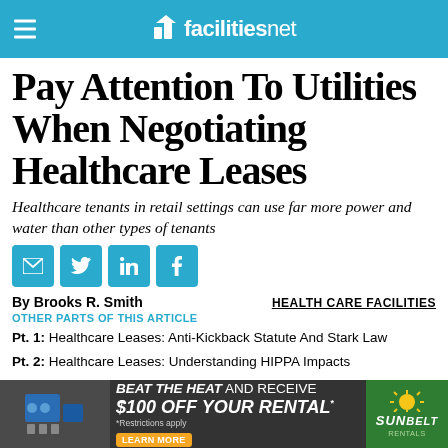facilitiesnet
Pay Attention To Utilities When Negotiating Healthcare Leases
Healthcare tenants in retail settings can use far more power and water than other types of tenants
[Figure (other): Social sharing buttons: email, Twitter, LinkedIn, Facebook]
By Brooks R. Smith
OTHER PARTS OF THIS ARTICLE
HEALTH CARE FACILITIES
Pt. 1: Healthcare Leases: Anti-Kickback Statute And Stark Law
Pt. 2: Healthcare Leases: Understanding HIPPA Impacts
Pt. 3: Healthcare Leases: Medical Waste
[Figure (other): Advertisement banner: BEAT THE HEAT AND RECEIVE $100 OFF YOUR RENTAL - SUNBELT RENTALS]